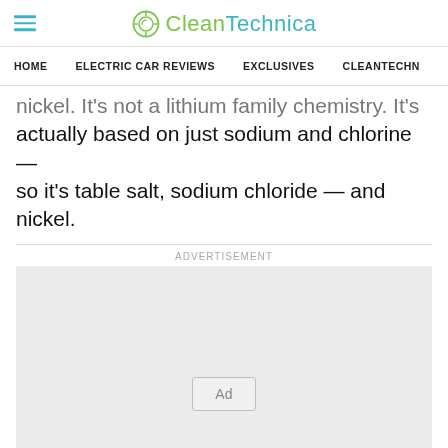CleanTechnica
HOME  ELECTRIC CAR REVIEWS  EXCLUSIVES  CLEANTECHN
nickel. It's not a lithium family chemistry. It's actually based on just sodium and chlorine — so it's table salt, sodium chloride — and nickel.
[Figure (other): Advertisement placeholder box with 'Ad' label]